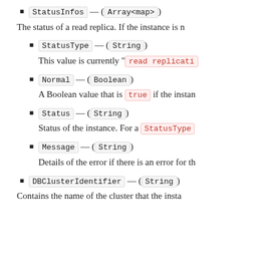StatusInfos — (Array<map>)
The status of a read replica. If the instance is n…
StatusType — (String)
This value is currently "read replicati…
Normal — (Boolean)
A Boolean value that is true if the instan…
Status — (String)
Status of the instance. For a StatusType…
Message — (String)
Details of the error if there is an error for th…
DBClusterIdentifier — (String)
Contains the name of the cluster that the insta…